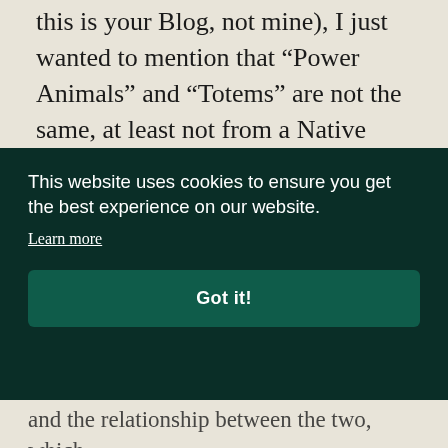this is your Blog, not mine), I just wanted to mention that “Power Animals” and “Totems” are not the same, at least not from a Native perspective. I have a whole article to this effect (which I need to get put up on my site) where I address this matter, but we actually differentiate considerably between “Totems,” “Power Animals,” and
This website uses cookies to ensure you get the best experience on our website.
Learn more
Got it!